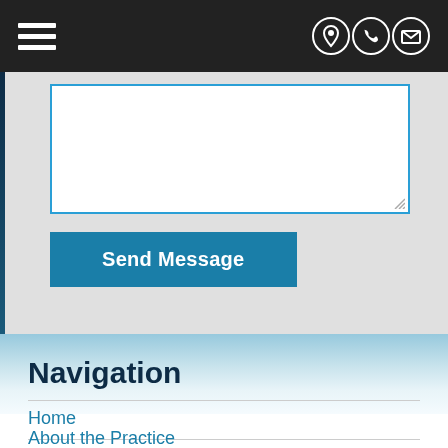[Navigation bar with hamburger menu and contact icons]
[Figure (screenshot): Contact form textarea with teal border, empty, with resize handle in bottom-right corner]
Send Message
Navigation
Home
About the Practice
Contact
Our Locations